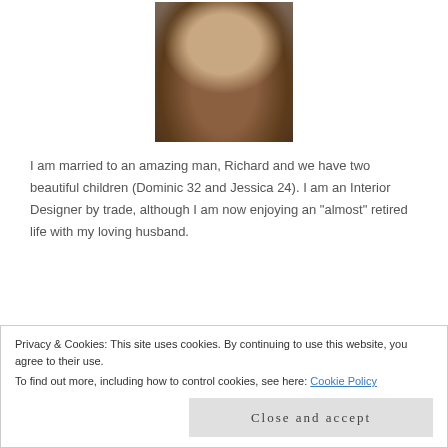[Figure (photo): Portrait photo of a woman with long dark hair, smiling, wearing a blue denim jacket]
I am married to an amazing man, Richard and we have two beautiful children (Dominic 32 and Jessica 24). I am an Interior Designer by trade, although I am now enjoying an "almost" retired life with my loving husband.
I love to create beautiful things and also love to decorate my home. Crafting is my passion. I've always been a fan of DIY projects. Four years ago, I started paper crafting (i.e., card making and scrapbooking).
Privacy & Cookies: This site uses cookies. By continuing to use this website, you agree to their use.
To find out more, including how to control cookies, see here: Cookie Policy
Close and accept
out recent and past posts. I hope that by doing so, I have inspired you